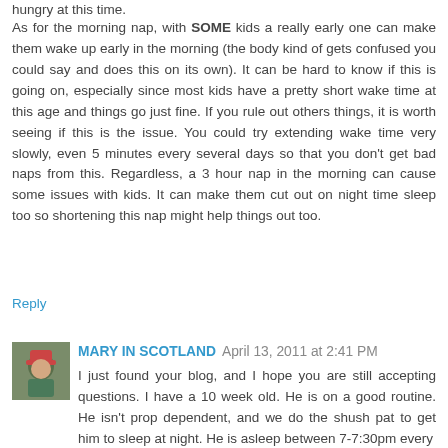As for the morning nap, with SOME kids a really early one can make them wake up early in the morning (the body kind of gets confused you could say and does this on its own). It can be hard to know if this is going on, especially since most kids have a pretty short wake time at this age and things go just fine. If you rule out others things, it is worth seeing if this is the issue. You could try extending wake time very slowly, even 5 minutes every several days so that you don't get bad naps from this. Regardless, a 3 hour nap in the morning can cause some issues with kids. It can make them cut out on night time sleep too so shortening this nap might help things out too.
Reply
MARY IN SCOTLAND  April 13, 2011 at 2:41 PM
I just found your blog, and I hope you are still accepting questions. I have a 10 week old. He is on a good routine. He isn't prop dependent, and we do the shush pat to get him to sleep at night. He is asleep between 7-7:30pm every